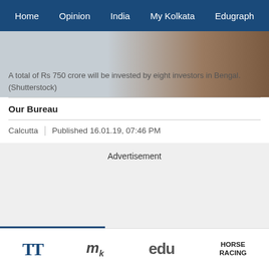Home  Opinion  India  My Kolkata  Edugraph
[Figure (photo): Partially visible image with gradient background representing an investment/Bengal story. Caption overlaid: 'A total of Rs 750 crore will be invested by eight investors in Bengal. (Shutterstock)']
A total of Rs 750 crore will be invested by eight investors in Bengal.
(Shutterstock)
Our Bureau
Calcutta  |  Published 16.01.19, 07:46 PM
Advertisement
TT  My  edu  HORSE RACING